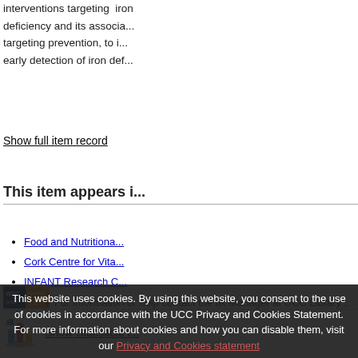interventions targeting iron deficiency and its association targeting prevention, to improve early detection of iron deficiency
Show full item record
This item appears in
Food and Nutritiona...
Cork Centre for Vita...
INFANT Research C...
[Figure (infographic): Show Statistical Information icon with bar chart graphic]
For information or help contact the IR Manager at UCC Library
This website uses cookies. By using this website, you consent to the use of cookies in accordance with the UCC Privacy and Cookies Statement. For more information about cookies and how you can disable them, visit our Privacy and Cookies statement